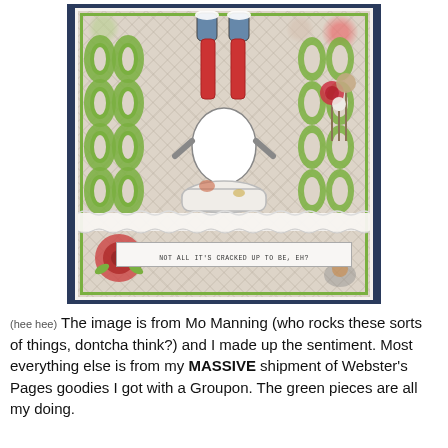[Figure (photo): A handmade greeting card featuring a whimsical character (from Mo Manning) doing a headstand into a toilet/bowl, with green lattice die-cut decorations on either side, floral embellishments, a lace strip, and a banner reading 'NOT ALL IT'S CRACKED UP TO BE, EH?' The card has a vintage floral patterned background with pink and green tones. The photo is set against a dark blue background.]
(hee hee) The image is from Mo Manning (who rocks these sorts of things, dontcha think?) and I made up the sentiment. Most everything else is from my MASSIVE shipment of Webster's Pages goodies I got with a Groupon. The green pieces are all my doing.